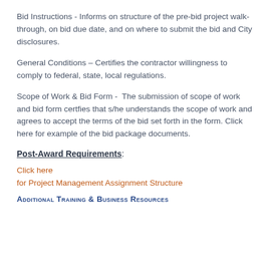Bid Instructions - Informs on structure of the pre-bid project walk-through, on bid due date, and on where to submit the bid and City disclosures.
General Conditions – Certifies the contractor willingness to comply to federal, state, local regulations.
Scope of Work & Bid Form -  The submission of scope of work and bid form certfies that s/he understands the scope of work and agrees to accept the terms of the bid set forth in the form. Click here for example of the bid package documents.
Post-Award Requirements:
Click here
for Project Management Assignment Structure
Additional Training & Business Resources